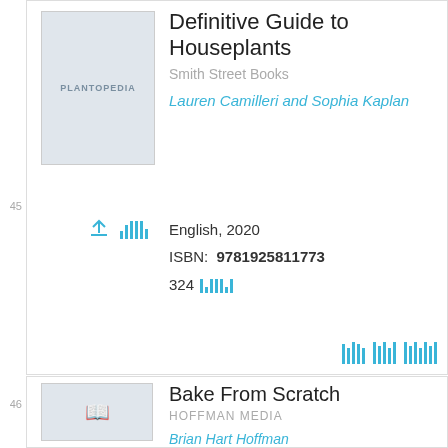Definitive Guide to Houseplants
Smith Street Books
Lauren Camilleri and Sophia Kaplan
English, 2020
ISBN: 9781925811773
324
46
Bake From Scratch
HOFFMAN MEDIA
Brian Hart Hoffman